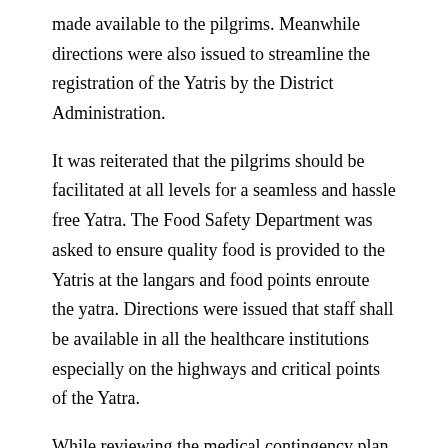made available to the pilgrims. Meanwhile directions were also issued to streamline the registration of the Yatris by the District Administration.
It was reiterated that the pilgrims should be facilitated at all levels for a seamless and hassle free Yatra. The Food Safety Department was asked to ensure quality food is provided to the Yatris at the langars and food points enroute the yatra. Directions were issued that staff shall be available in all the healthcare institutions especially on the highways and critical points of the Yatra.
While reviewing the medical contingency plan, Principal Secretary directed that emergency response system has to be quick and fool proof at all levels and necessary measures should be put in place in this regard. The deployment of Ambulances along the Yatra route was discussed threadbare and directions were issued for keeping the 102 and 108 Ambulance system in a